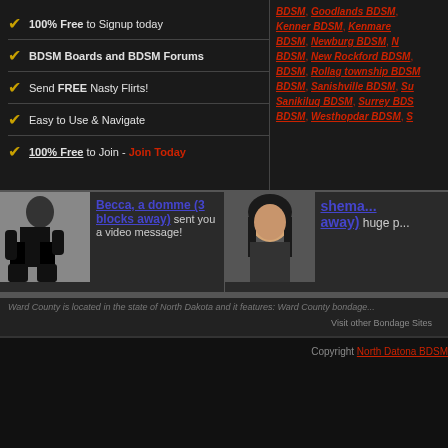100% Free to Signup today
BDSM Boards and BDSM Forums
Send FREE Nasty Flirts!
Easy to Use & Navigate
100% Free to Join - Join Today
BDSM, Goodlands BDSM, Kenner BDSM, Kenmare BDSM, Newburg BDSM, Noonan BDSM, New Rockford BDSM, Rollag township BDSM, Flaxton Township BDSM, Sanishville BDSM, Surrey BDSM, Westhope BDSM, Westhope BDSM
[Figure (photo): Photo of a woman in black latex/leather outfit]
Becca, a domme (3 blocks away) sent you a video message!
[Figure (photo): Photo of a woman with long dark hair]
shema... away) huge p...
Ward County is located in the state of North Dakota and it features: Ward County bondage...
Visit other Bondage Sites
Copyright North Datona BDSM